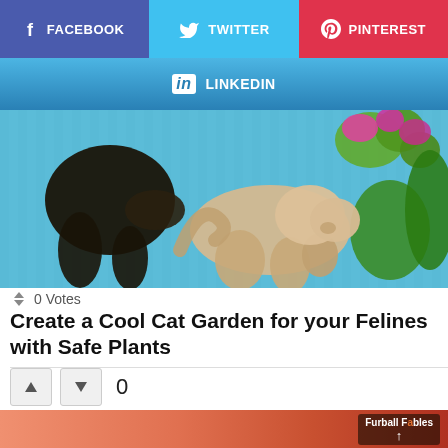[Figure (infographic): Social share buttons: Facebook (purple), Twitter (blue), Pinterest (red)]
[Figure (infographic): LinkedIn share button (blue gradient)]
[Figure (photo): Two cats on a blue striped surface with green plants and pink flowers in background]
↕ 0 Votes
Create a Cool Cat Garden for your Felines with Safe Plants
[Figure (infographic): Vote up and vote down buttons with count 0]
[Figure (photo): Close-up of orange/red cat fur with Furball Fables logo overlay]